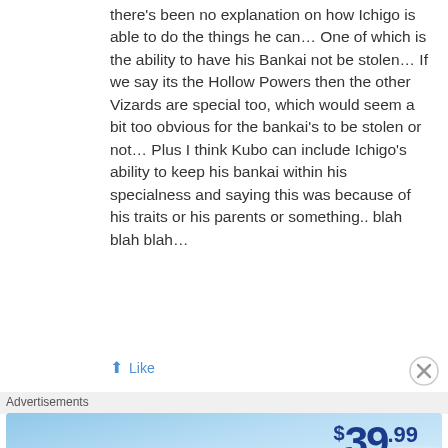there's been no explanation on how Ichigo is able to do the things he can… One of which is the ability to have his Bankai not be stolen… If we say its the Hollow Powers then the other Vizards are special too, which would seem a bit too obvious for the bankai's to be stolen or not… Plus I think Kubo can include Ichigo's ability to keep his bankai within his specialness and saying this was because of his traits or his parents or something.. blah blah blah…
Like
Advertisements
[Figure (screenshot): Tumblr Ad-Free Browsing advertisement banner. Shows Tumblr logo with sparkles, text 'TUMBLR AD-FREE BROWSING', price $39.99 a year or $4.99 a month on a blue gradient background.]